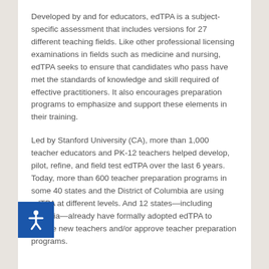Developed by and for educators, edTPA is a subject-specific assessment that includes versions for 27 different teaching fields. Like other professional licensing examinations in fields such as medicine and nursing, edTPA seeks to ensure that candidates who pass have met the standards of knowledge and skill required of effective practitioners. It also encourages preparation programs to emphasize and support these elements in their training.
Led by Stanford University (CA), more than 1,000 teacher educators and PK-12 teachers helped develop, pilot, refine, and field test edTPA over the last 6 years. Today, more than 600 teacher preparation programs in some 40 states and the District of Columbia are using edTPA at different levels. And 12 states—including Georgia—already have formally adopted edTPA to license new teachers and/or approve teacher preparation programs.